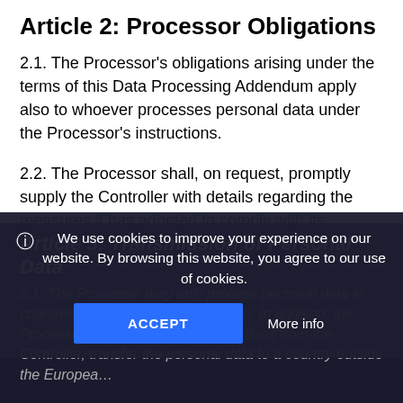Article 2: Processor Obligations
2.1. The Processor's obligations arising under the terms of this Data Processing Addendum apply also to whoever processes personal data under the Processor's instructions.
2.2. The Processor shall, on request, promptly supply the Controller with details regarding the measures it has adopted to comply with its obligations under this Data Processing Addendum and the GDPR.
Article 3: Transmission of Personal Data
3.1. The Processor may only process personal data in countries within the European Union. In addition, the Processor may, if it receives instructions from the Controller, transfer the personal data to a country outside the European
We use cookies to improve your experience on our website. By browsing this website, you agree to our use of cookies.